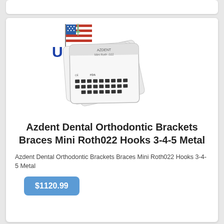[Figure (photo): Product photo of Azdent dental orthodontic brackets packaging, with a USA patriotic logo (Statue of Liberty, American flag, U and A letters) overlaid in the upper left of the image. Several white blister card packages of brackets are shown fanned out.]
Azdent Dental Orthodontic Brackets Braces Mini Roth022 Hooks 3-4-5 Metal
Azdent Dental Orthodontic Brackets Braces Mini Roth022 Hooks 3-4-5 Metal
$1120.99